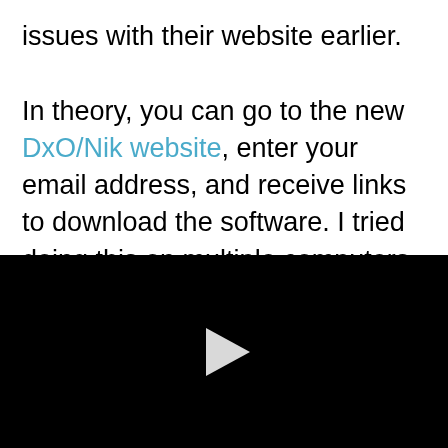issues with their website earlier.

In theory, you can go to the new DxO/Nik website, enter your email address, and receive links to download the software. I tried doing this on multiple computers with several different email addresses, and the links never arrived in my inbox. (I did check my spam mail, as well.) This is definitely temporary (or just an issue for me).
[Figure (other): A black video player area with a white play button triangle in the center]